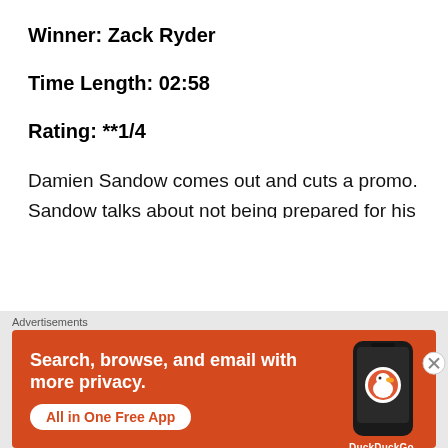Winner: Zack Ryder
Time Length: 02:58
Rating: **1/4
Damien Sandow comes out and cuts a promo. Sandow talks about not being prepared for his match against Sheamus last week. Sandow then talks about the WWE Universe and social media. Sandow's promo is interrupted by Randy Orton. Sandow wants to know
[Figure (screenshot): DuckDuckGo advertisement banner with orange background. Text reads: 'Search, browse, and email with more privacy. All in One Free App'. Shows a phone mockup with DuckDuckGo logo.]